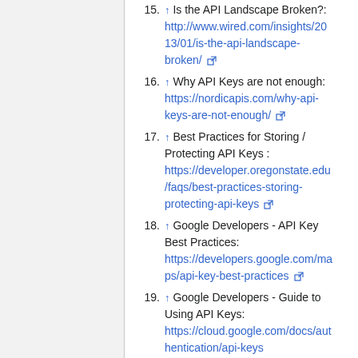15. ↑ Is the API Landscape Broken?: http://www.wired.com/insights/2013/01/is-the-api-landscape-broken/
16. ↑ Why API Keys are not enough: https://nordicapis.com/why-api-keys-are-not-enough/
17. ↑ Best Practices for Storing / Protecting API Keys : https://developer.oregonstate.edu/faqs/best-practices-storing-protecting-api-keys
18. ↑ Google Developers - API Key Best Practices: https://developers.google.com/maps/api-key-best-practices
19. ↑ Google Developers - Guide to Using API Keys: https://cloud.google.com/docs/authentication/api-keys